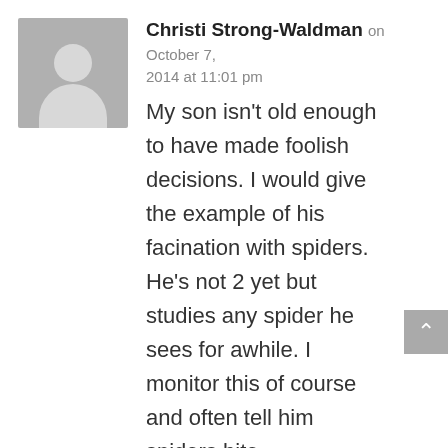[Figure (illustration): Gray placeholder avatar image showing silhouette of a person (head and shoulders) on a gray background]
Christi Strong-Waldman on October 7, 2014 at 11:01 pm
My son isn't old enough to have made foolish decisions. I would give the example of his facination with spiders. He's not 2 yet but studies any spider he sees for awhile. I monitor this of course and often tell him spiders bite